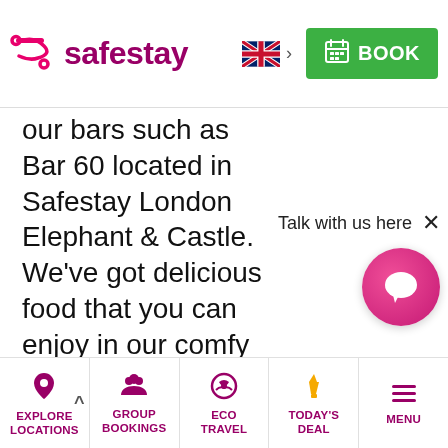safestay — BOOK
our bars such as Bar 60 located in Safestay London Elephant & Castle. We've got delicious food that you can enjoy in our comfy and cosy bar. We serve an eclectic mix of
[Figure (screenshot): Chat widget with 'Talk with us here' label and pink circular chat bubble button with close X]
EXPLORE LOCATIONS | GROUP BOOKINGS | ECO TRAVEL | TODAY'S DEAL | MENU